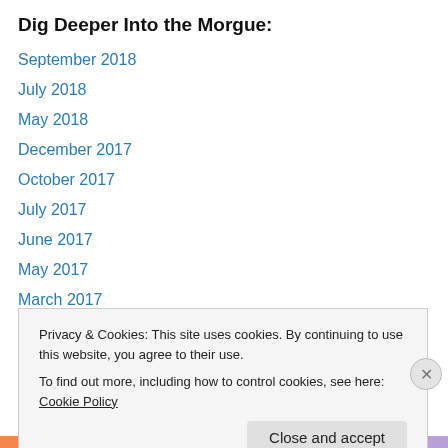Dig Deeper Into the Morgue:
September 2018
July 2018
May 2018
December 2017
October 2017
July 2017
June 2017
May 2017
March 2017
February 2017
January 2017
December 2016
Privacy & Cookies: This site uses cookies. By continuing to use this website, you agree to their use.
To find out more, including how to control cookies, see here: Cookie Policy
Close and accept